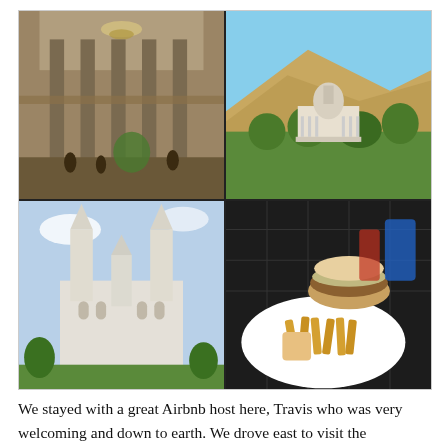[Figure (photo): 2x2 grid of four photos: top-left shows an ornate building interior with columns and chandelier; top-right shows an aerial view of the Utah State Capitol building with mountains behind; bottom-left shows the Salt Lake Temple with two spires; bottom-right shows a plate of food (burger and fries) on an outdoor table.]
We stayed with a great Airbnb host here, Travis who was very welcoming and down to earth. We drove east to visit the Bonneville Salt Flats, where they race cars and achieve land speed records with all types of vehicles. Although there was no car racing while we were there, as the salt flats were too wet, it was pretty amazing to see the